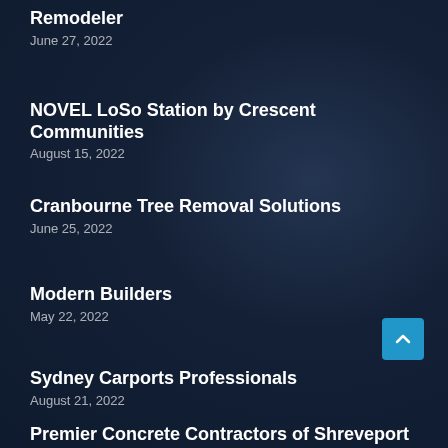Remodeler
June 27, 2022
NOVEL LoSo Station by Crescent Communities
August 15, 2022
Cranbourne Tree Removal Solutions
June 25, 2022
Modern Builders
May 22, 2022
Sydney Carports Professionals
August 21, 2022
Premier Concrete Contractors of Shreveport